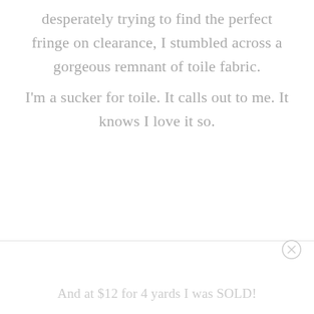desperately trying to find the perfect fringe on clearance, I stumbled across a gorgeous remnant of toile fabric.
I'm a sucker for toile. It calls out to me. It knows I love it so.
And at $12 for 4 yards I was SOLD!